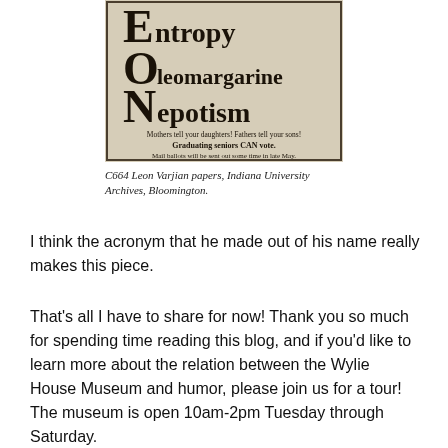[Figure (photo): Scanned newspaper/flyer clipping on aged paper showing large bold letters spelling out an acronym: 'E ntropy', 'O leomargarine', 'N epotism' with text below reading 'Mothers tell your daughters! Fathers tell your sons! Graduating seniors CAN vote. Mail ballots will be sent out some time in late May.']
C664 Leon Varjian papers, Indiana University Archives, Bloomington.
I think the acronym that he made out of his name really makes this piece.
That’s all I have to share for now! Thank you so much for spending time reading this blog, and if you’d like to learn more about the relation between the Wylie House Museum and humor, please join us for a tour! The museum is open 10am-2pm Tuesday through Saturday.